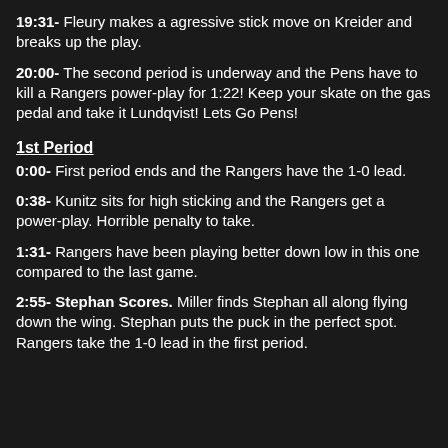19:31- Fleury makes a agressive stick move on Kreider and breaks up the play.
20:00- The second period is underway and the Pens have to kill a Rangers power-play for 1:22! Keep your skate on the gas pedal and take it Lundqvist! Lets Go Pens!
1st Period
0:00- First period ends and the Rangers have the 1-0 lead.
0:38- Kunitz sits for high sticking and the Rangers get a power-play. Horrible penalty to take.
1:31- Rangers have been playing better down low in this one compared to the last game.
2:55- Stephan Scores. Miller finds Stephan all along flying down the wing. Stephan puts the puck in the perfect spot. Rangers take the 1-0 lead in the first period.